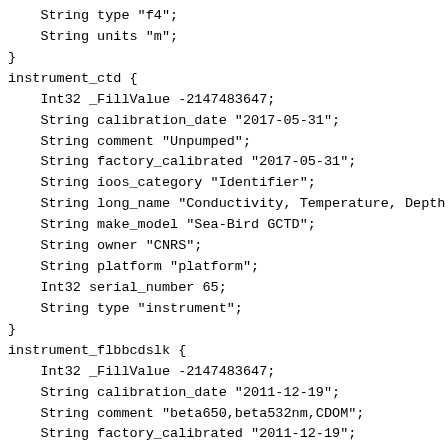String type "f4";
    String units "m";
}
instrument_ctd {
    Int32 _FillValue -2147483647;
    String calibration_date "2017-05-31";
    String comment "Unpumped";
    String factory_calibrated "2017-05-31";
    String ioos_category "Identifier";
    String long_name "Conductivity, Temperature, Depth
    String make_model "Sea-Bird GCTD";
    String owner "CNRS";
    String platform "platform";
    Int32 serial_number 65;
    String type "instrument";
}
instrument_flbbcdslk {
    Int32 _FillValue -2147483647;
    String calibration_date "2011-12-19";
    String comment "beta650,beta532nm,CDOM";
    String factory_calibrated "2011-12-19";
    String ioos_category "Identifier";
    String long_name "ECO Triplet Puck";
    String make_model "Sea-Bird ECO Triplet flbbcdslk"
    String owner "CNRS";
    String platform "platform";